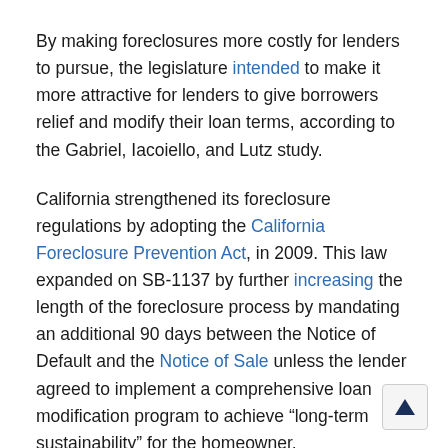By making foreclosures more costly for lenders to pursue, the legislature intended to make it more attractive for lenders to give borrowers relief and modify their loan terms, according to the Gabriel, Iacoiello, and Lutz study.
California strengthened its foreclosure regulations by adopting the California Foreclosure Prevention Act, in 2009. This law expanded on SB-1137 by further increasing the length of the foreclosure process by mandating an additional 90 days between the Notice of Default and the Notice of Sale unless the lender agreed to implement a comprehensive loan modification program to achieve “long-term sustainability” for the homeowner.
The Obama Administration, however, took an